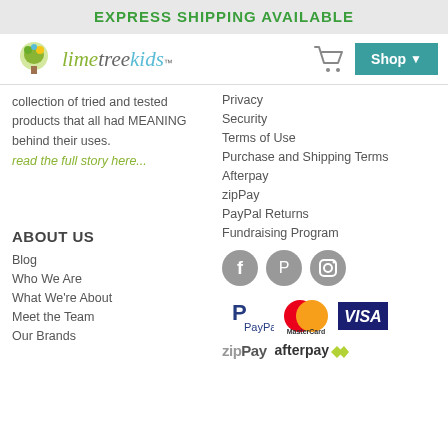EXPRESS SHIPPING AVAILABLE
[Figure (logo): Lime Tree Kids logo with tree icon and stylized text]
collection of tried and tested products that all had MEANING behind their uses.
read the full story here...
Privacy
Security
Terms of Use
Purchase and Shipping Terms
Afterpay
zipPay
PayPal Returns
Fundraising Program
ABOUT US
[Figure (illustration): Social media icons: Facebook, Pinterest, Instagram]
Blog
Who We Are
What We're About
Meet the Team
Our Brands
[Figure (illustration): Payment method logos: PayPal, MasterCard, Visa, zipPay, afterpay]